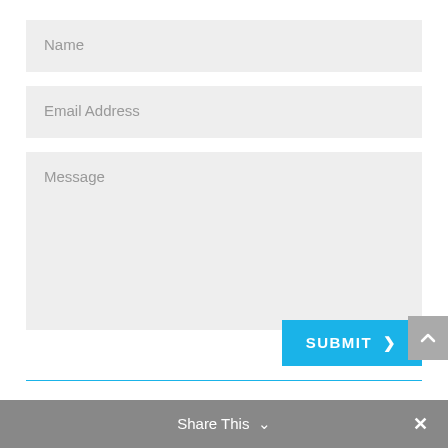Name
Email Address
Message
SUBMIT >
Share This
[Figure (screenshot): Contact form with Name, Email Address, and Message input fields, a blue SUBMIT button with chevron, a gray back-to-top button, a blue divider line, and a gray Share This bar at the bottom]